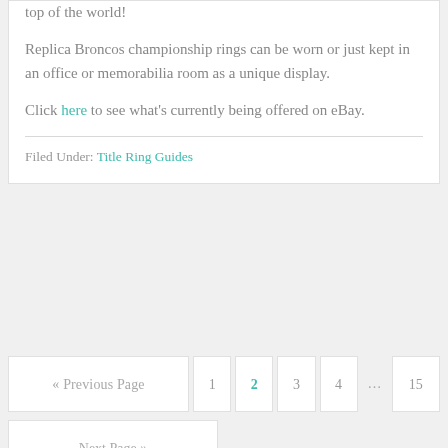top of the world!
Replica Broncos championship rings can be worn or just kept in an office or memorabilia room as a unique display.
Click here to see what's currently being offered on eBay.
Filed Under: Title Ring Guides
« Previous Page  1  2  3  4  ...  15  Next Page »